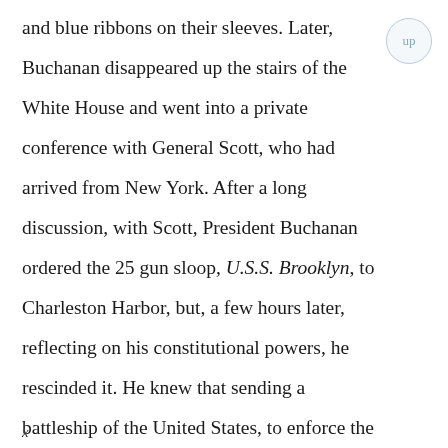and blue ribbons on their sleeves. Later, Buchanan disappeared up the stairs of the White House and went into a private conference with General Scott, who had arrived from New York. After a long discussion, with Scott, President Buchanan ordered the 25 gun sloop, U.S.S. Brooklyn, to Charleston Harbor, but, a few hours later, reflecting on his constitutional powers, he rescinded it. He knew that sending a battleship of the United States, to enforce the will of the Federal Government over the whole people of a State, is a plain act of war; for, called by its right name, a President's order sending a battleship to Charleston was hardly any different than the King George sending his fleet there in
x